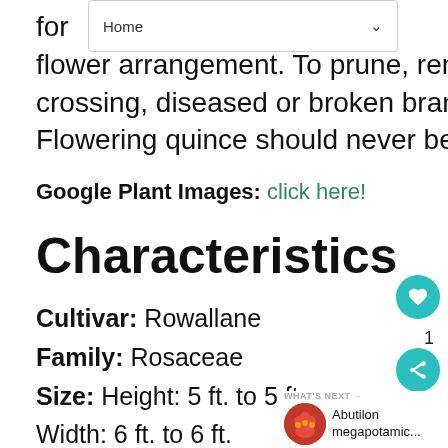Home
for flower arrangement. To prune, remove only crossing, diseased or broken branches. Flowering quince should never be sheared.
Google Plant Images: click here!
Characteristics
Cultivar: Rowallane
Family: Rosaceae
Size: Height: 5 ft. to 5 ft. Width: 6 ft. to 6 ft.
Plant Category: landscape, perennials shrubs,
Plant Characteristics: low maintenance, seed